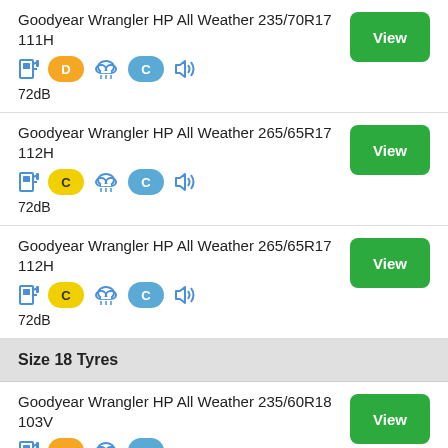Goodyear Wrangler HP All Weather 235/70R17 111H
D C 72dB
Goodyear Wrangler HP All Weather 265/65R17 112H
C C 72dB
Goodyear Wrangler HP All Weather 265/65R17 112H
C C 72dB
Size 18 Tyres
Goodyear Wrangler HP All Weather 235/60R18 103V